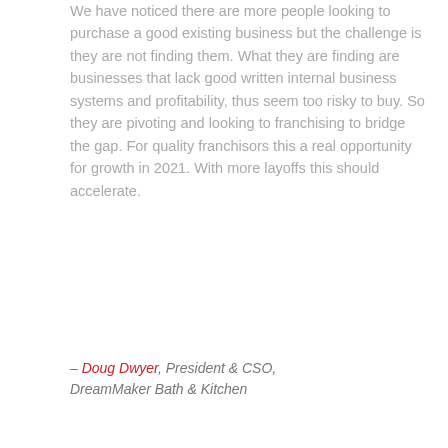We have noticed there are more people looking to purchase a good existing business but the challenge is they are not finding them. What they are finding are businesses that lack good written internal business systems and profitability, thus seem too risky to buy. So they are pivoting and looking to franchising to bridge the gap. For quality franchisors this a real opportunity for growth in 2021. With more layoffs this should accelerate.
– Doug Dwyer, President & CSO, DreamMaker Bath & Kitchen